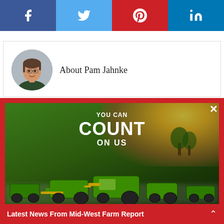[Figure (other): Social media share buttons: Facebook (dark blue), Twitter (light blue), Pinterest (red), LinkedIn (blue)]
[Figure (other): Author bio card with circular headshot photo and name 'About Pam Jahnke']
[Figure (other): John Deere / Mid-State Equipment advertisement popup with red border, showing text 'YOU CAN COUNT ON US' over a photo of John Deere equipment on a green lawn, with John Deere and Mid-State Equipment logos at the bottom. Close (X) button in top right.]
Latest News From Mid-West Farm Report